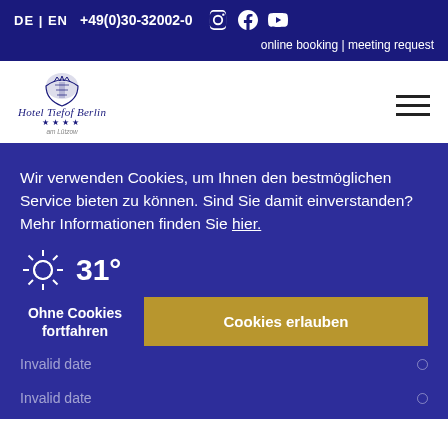DE | EN  +49(0)30-32002-0  [Instagram] [Facebook] [YouTube]
online booking | meeting request
[Figure (logo): Hotel Tiefof Berlin logo with crest emblem, italic script hotel name, four stars, and subtitle]
Wir verwenden Cookies, um Ihnen den bestmöglichen Service bieten zu können. Sind Sie damit einverstanden? Mehr Informationen finden Sie hier.
31°
Ohne Cookies fortfahren
Cookies erlauben
Invalid date
Invalid date